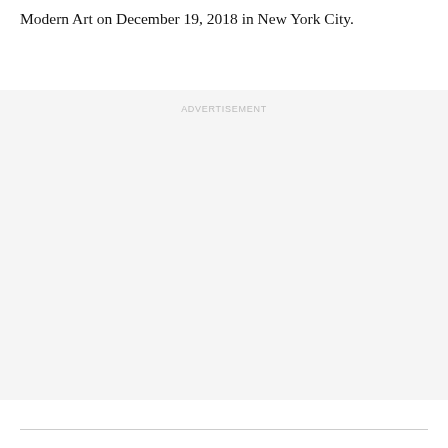Modern Art on December 19, 2018 in New York City.
ADVERTISEMENT